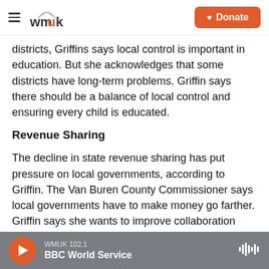WMUK — Donate
districts, Griffins says local control is important in education. But she acknowledges that some districts have long-term problems. Griffin says there should be a balance of local control and ensuring every child is educated.
Revenue Sharing
The decline in state revenue sharing has put pressure on local governments, according to Griffin. The Van Buren County Commissioner says local governments have to make money go farther. Griffin says she wants to improve collaboration
WMUK 102.1 BBC World Service